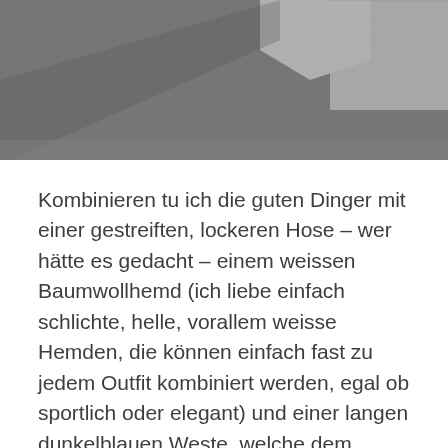[Figure (photo): Cropped bottom portion of an outdoor photo showing dark asphalt/pavement surface with stone or concrete edging visible in the upper right corner.]
Kombinieren tu ich die guten Dinger mit einer gestreiften, lockeren Hose – wer hätte es gedacht – einem weissen Baumwollhemd (ich liebe einfach schlichte, helle, vorallem weisse Hemden, die können einfach fast zu jedem Outfit kombiniert werden, egal ob sportlich oder elegant) und einer langen dunkelblauen Weste, welche dem sportlichen Outfit noch einen kleinen Schliff von Eleganz verleiht. Und Tadaa, das wers tatsächlich schon. Eher unspektakulär, mein heutiges Outfit, aber dennoch gefällt mir persönlich der Look richtig gut! Was meint ihr dazu?